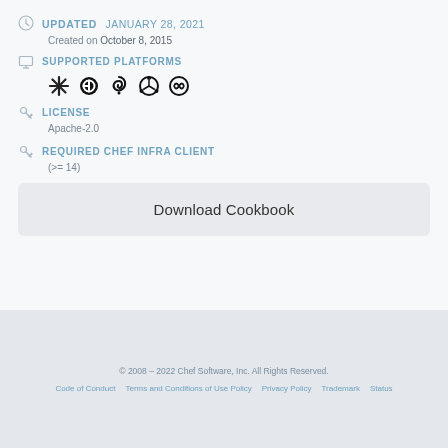UPDATED JANUARY 28, 2021
Created on October 8, 2015
SUPPORTED PLATFORMS
[Figure (illustration): Platform icons: generic OS, Fedora, Debian, Ubuntu, another Linux distro]
LICENSE
Apache-2.0
REQUIRED CHEF INFRA CLIENT
(>= 14)
Download Cookbook
© 2008 – 2022 Chef Software, Inc. All Rights Reserved. Code of Conduct   Terms and Conditions of Use Policy   Privacy Policy   Trademark   Status